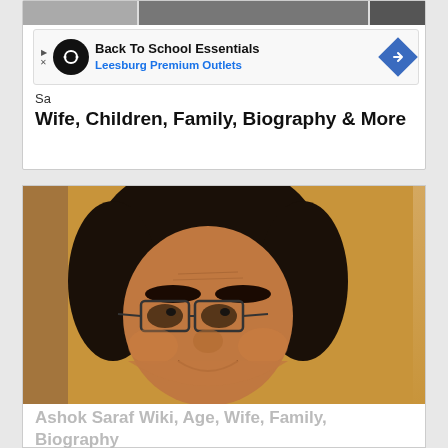[Figure (photo): Top strip showing partial photos of people]
[Figure (screenshot): Advertisement banner: Back To School Essentials - Leesburg Premium Outlets with infinity logo and blue diamond arrow]
Sa... [truncated] ...Wife, Children, Family, Biography & More
[Figure (photo): Photo of Ashok Saraf, Indian actor, smiling man with glasses and curly dark hair against golden/yellow background]
Ashok Saraf Wiki, Age, Wife, Family, Biography & N...
Advertisement
[Figure (screenshot): Advertisement banner: Back To School Essentials - Leesburg Premium Outlets with infinity logo and blue diamond arrow]